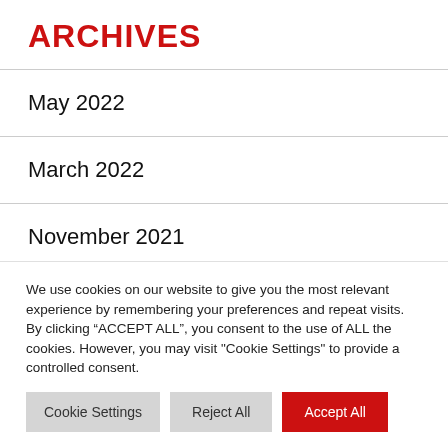ARCHIVES
May 2022
March 2022
November 2021
June 2021
We use cookies on our website to give you the most relevant experience by remembering your preferences and repeat visits. By clicking “ACCEPT ALL”, you consent to the use of ALL the cookies. However, you may visit "Cookie Settings" to provide a controlled consent.